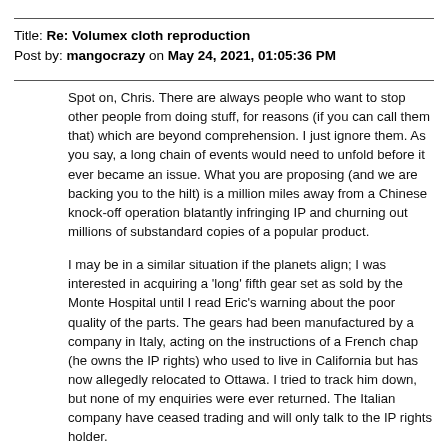Title: Re: Volumex cloth reproduction
Post by: mangocrazy on May 24, 2021, 01:05:36 PM
Spot on, Chris. There are always people who want to stop other people from doing stuff, for reasons (if you can call them that) which are beyond comprehension. I just ignore them. As you say, a long chain of events would need to unfold before it ever became an issue. What you are proposing (and we are backing you to the hilt) is a million miles away from a Chinese knock-off operation blatantly infringing IP and churning out millions of substandard copies of a popular product.
I may be in a similar situation if the planets align; I was interested in acquiring a 'long' fifth gear set as sold by the Monte Hospital until I read Eric's warning about the poor quality of the parts. The gears had been manufactured by a company in Italy, acting on the instructions of a French chap (he owns the IP rights) who used to live in California but has now allegedly relocated to Ottawa. I tried to track him down, but none of my enquiries were ever returned. The Italian company have ceased trading and will only talk to the IP rights holder.
Looking further into it, and after having had a discussion with an engineering company in Sheffield, I decided that if I was to attempt any re-manufacture that